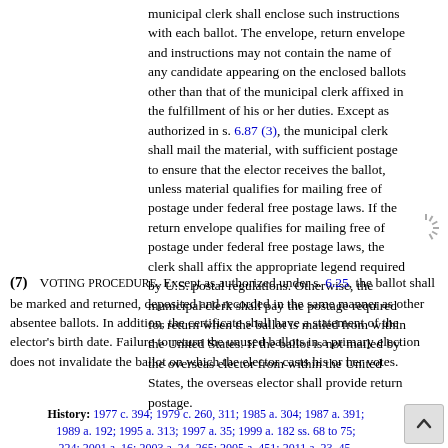municipal clerk shall enclose such instructions with each ballot. The envelope, return envelope and instructions may not contain the name of any candidate appearing on the enclosed ballots other than that of the municipal clerk affixed in the fulfillment of his or her duties. Except as authorized in s. 6.87 (3), the municipal clerk shall mail the material, with sufficient postage to ensure that the elector receives the ballot, unless material qualifies for mailing free of postage under federal free postage laws. If the return envelope qualifies for mailing free of postage under federal free postage laws, the clerk shall affix the appropriate legend required by U.S. postal regulations. Otherwise, the municipal clerk shall pay the postage required for return when the ballot is mailed from within the United States. If the ballot is not mailed by the overseas elector from within the United States, the overseas elector shall provide return postage.
(7) VOTING PROCEDURE. Except as authorized under s. 6.25, the ballot shall be marked and returned, deposited and recorded in the same manner as other absentee ballots. In addition, the certificate shall have a statement of the elector's birth date. Failure to return the unused ballots in a primary election does not invalidate the ballot on which the elector casts his or her votes.
History: 1977 c. 394; 1979 c. 260, 311; 1985 a. 304; 1987 a. 391; 1989 a. 192; 1995 a. 313; 1997 a. 35; 1999 a. 182 ss. 68 to 75; 224; 2001 a. 16; 2003 a. 24, 265; 2005 a. 451; 2011 a. 23, 45,